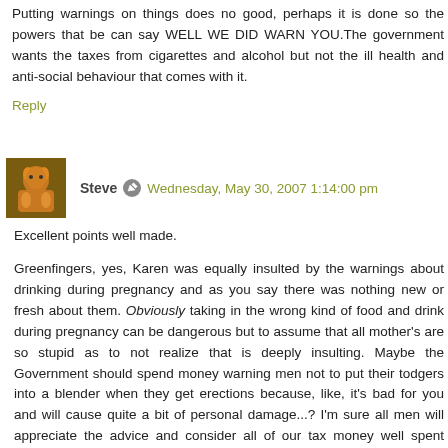Putting warnings on things does no good, perhaps it is done so the powers that be can say WELL WE DID WARN YOU.The government wants the taxes from cigarettes and alcohol but not the ill health and anti-social behaviour that comes with it.
Reply
Steve  Wednesday, May 30, 2007 1:14:00 pm
Excellent points well made.
Greenfingers, yes, Karen was equally insulted by the warnings about drinking during pregnancy and as you say there was nothing new or fresh about them. Obviously taking in the wrong kind of food and drink during pregnancy can be dangerous but to assume that all mother's are so stupid as to not realize that is deeply insulting. Maybe the Government should spend money warning men not to put their todgers into a blender when they get erections because, like, it's bad for you and will cause quite a bit of personal damage...? I'm sure all men will appreciate the advice and consider all of our tax money well spent stating the obvious.